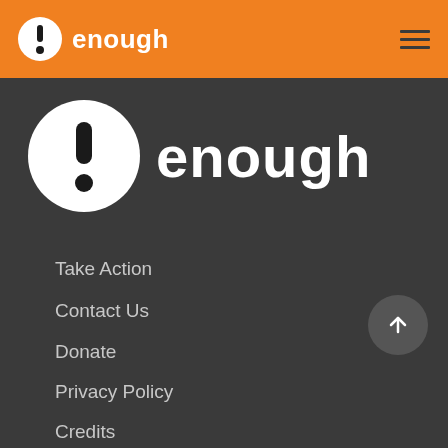enough
[Figure (logo): Enough logo — white circle with black exclamation mark, beside the word 'enough' in white bold text, on a dark background]
Take Action
Contact Us
Donate
Privacy Policy
Credits
Statement of Independence